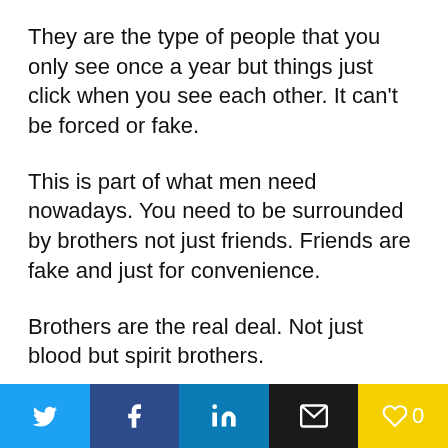They are the type of people that you only see once a year but things just click when you see each other. It can’t be forced or fake.
This is part of what men need nowadays. You need to be surrounded by brothers not just friends. Friends are fake and just for convenience.
Brothers are the real deal. Not just blood but spirit brothers.
Think about that. You can’t be a lone wolf and get
Social share bar with Twitter, Facebook, LinkedIn, Email, and Like (0) buttons